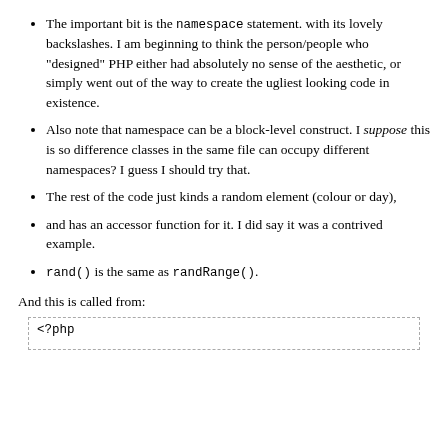The important bit is the namespace statement. with its lovely backslashes. I am beginning to think the person/people who "designed" PHP either had absolutely no sense of the aesthetic, or simply went out of the way to create the ugliest looking code in existence.
Also note that namespace can be a block-level construct. I suppose this is so difference classes in the same file can occupy different namespaces? I guess I should try that.
The rest of the code just kinds a random element (colour or day),
and has an accessor function for it. I did say it was a contrived example.
rand() is the same as randRange().
And this is called from:
[Figure (screenshot): Code box with dashed border showing start of PHP code: <?php]